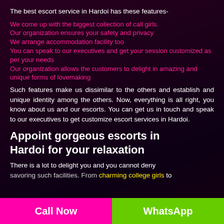The best escort service in Hardoi has these features-
We come up with the biggest collection of call girls.
Our organization ensures your safety and privacy
We arrange accommodation facility too
You can speak to our executives and get your session customized as per your needs
Our organization allows the customers to delight in amazing and unique forms of lovemaking
Such features make us dissimilar to the others and establish and unique identity among the others. Now, everything is all right, you know about us and our escorts. You can get us in touch and speak to our executives to get customize escort services in Hardoi.
Appoint gorgeous escorts in Hardoi for your relaxation
There is a lot to delight you and you cannot deny savoring such facilities. From charming college girls to
Call Now | WhatsApp